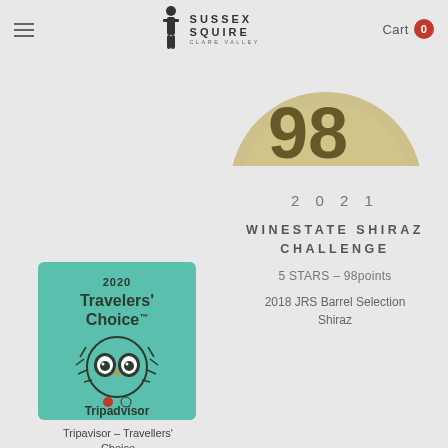Sussex Squire Clare Valley — Cart 0
[Figure (illustration): Partial gold medal badge showing '98 POINTS' at top of page]
2021
WINESTATE SHIRAZ CHALLENGE
5 STARS – 98points
2018 JRS Barrel Selection Shiraz
[Figure (logo): 2020 TripAdvisor Travelers' Choice badge with owl logo on green background]
Tripavisor – Travellers' Choice
[Figure (illustration): Partial gold medal badge showing '5 STARS' at bottom of page]